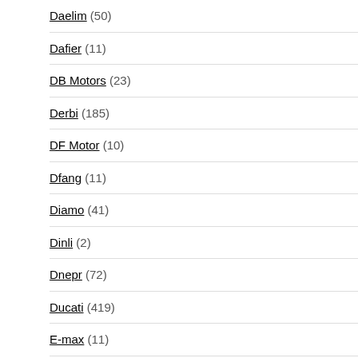Daelim (50)
Dafier (11)
DB Motors (23)
Derbi (185)
DF Motor (10)
Dfang (11)
Diamo (41)
Dinli (2)
Dnepr (72)
Ducati (419)
E-max (11)
Ecosse (12)
Enfield (111)
Factory Bike (30)
Fantic (43)
GAS GAS (135)
Generic (52)
Genuine Scooter (19)
Giantco (25)
Gilera (116)
Our current motorbike's database co... different motorbikes for near 150 ... basically "you name it, we have it".
Feel free to browse around our cate... looking for, we're quite sure you'll be...
If you want to get automatic updates... us and subscribe to the Motorbike Sp...
Share and Enjoy:
[Figure (infographic): Row of small social sharing icon buttons]
Related Posts:
1981 Moto Guzzi 850 T 4 Te...
1981 Moto Guzzi V 50 III Te...
1981 Moto Guzzi V 35 II Te...